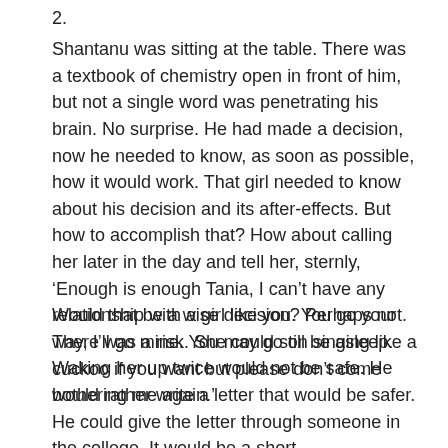2.
Shantanu was sitting at the table. There was a textbook of chemistry open in front of him, but not a single word was penetrating his brain. No surprise. He had made a decision, now he needed to know, as soon as possible, how it would work. That girl needed to know about his decision and its after-effects. But how to accomplish that? How about calling her later in the day and tell her, sternly, ‘Enough is enough Tania, I can’t have any relationship with a girl like you. You go your way, I’ll go mine. You may go on singing like a cuckoo if you want but please don’t come bothering me again.’
Would that be a wise decision? Perhaps not. There was a risk. She could still be asleep. Waking her up twice would not be safe. He would rather write a letter that would be safer. He could give the letter through someone in the college. It would be a short